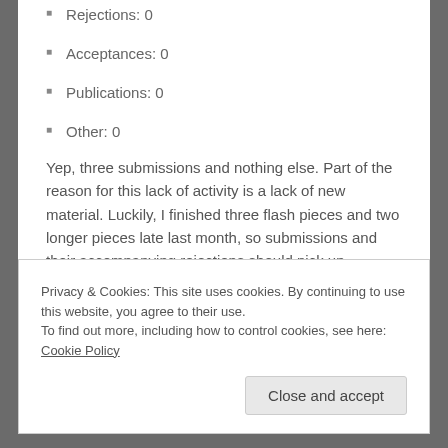Rejections: 0
Acceptances: 0
Publications: 0
Other: 0
Yep, three submissions and nothing else. Part of the reason for this lack of activity is a lack of new material. Luckily, I finished three flash pieces and two longer pieces late last month, so submissions and their accompanying rejections should pick up.
Privacy & Cookies: This site uses cookies. By continuing to use this website, you agree to their use.
To find out more, including how to control cookies, see here: Cookie Policy